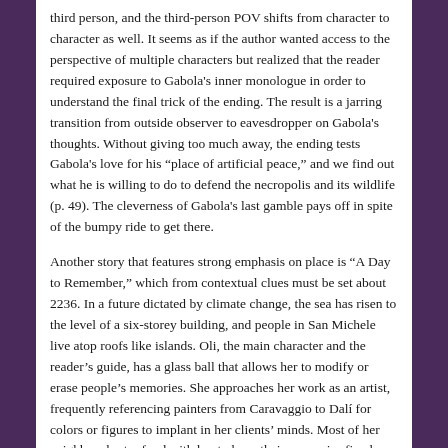third person, and the third-person POV shifts from character to character as well. It seems as if the author wanted access to the perspective of multiple characters but realized that the reader required exposure to Gabola's inner monologue in order to understand the final trick of the ending. The result is a jarring transition from outside observer to eavesdropper on Gabola's thoughts. Without giving too much away, the ending tests Gabola's love for his “place of artificial peace,” and we find out what he is willing to do to defend the necropolis and its wildlife (p. 49). The cleverness of Gabola's last gamble pays off in spite of the bumpy ride to get there.
Another story that features strong emphasis on place is “A Day to Remember,” which from contextual clues must be set about 2236. In a future dictated by climate change, the sea has risen to the level of a six-storey building, and people in San Michele live atop roofs like islands. Oli, the main character and the reader’s guide, has a glass ball that allows her to modify or erase people’s memories. She approaches her work as an artist, frequently referencing painters from Caravaggio to Dalí for colors or figures to implant in her clients’ minds. Most of her neighbors barter food with her to have their memories fixed. She begins by freely changing